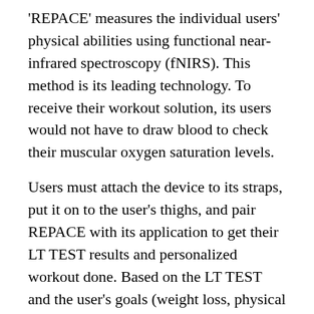'REPACE' measures the individual users' physical abilities using functional near-infrared spectroscopy (fNIRS). This method is its leading technology. To receive their workout solution, its users would not have to draw blood to check their muscular oxygen saturation levels.
Users must attach the device to its straps, put it on to the user's thighs, and pair REPACE with its application to get their LT TEST results and personalized workout done. Based on the LT TEST and the user's goals (weight loss, physical fitness, exercise abilities, etc.) REPACE will provide every individual of their personalized workout solutions. To motivate its users, REPACE also provides a ranking system and hands out trophies and medals. Apart from the ranks, it also provides its own community for users to share their workout records on Facebook with their friends, thus preventing